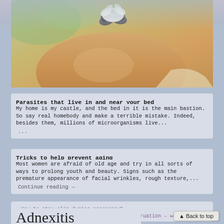[Figure (photo): Pregnant woman's belly with decorative baby shoes on top, blurred green background]
Parasites that live in and near your bed
My home is my castle, and the bed in it is the main bastion. So say real homebody and make a terrible mistake. Indeed, besides them, millions of microorganisms live...
 ...
Tricks to help prevent aging
Most women are afraid of old age and try in all sorts of ways to prolong youth and beauty. Signs such as the premature appearance of facial wrinkles, rough texture,...
  Continue reading →
« How to stay slim during pregnancy?
Painful menstruation – what to do? »
▲ Back to top
Adnexitis